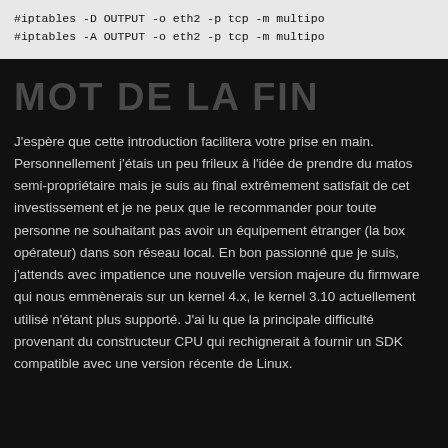#iptables -D OUTPUT -o eth2 -p tcp -m multipo
#iptables -A OUTPUT -o eth2 -p tcp -m multipo
MOT DE LA FIN
J'espère que cette introduction facilitera votre prise en main. Personnellement j'étais un peu frileux à l'idée de prendre du matos semi-propriétaire mais je suis au final extrêmement satisfait de cet investissement et je ne peux que le recommander pour toute personne ne souhaitant pas avoir un équipement étranger (la box opérateur) dans son réseau local. En bon passionné que je suis, j'attends avec impatience une nouvelle version majeure du firmware qui nous emmènerais sur un kernel 4.x, le kernel 3.10 actuellement utilisé n'étant plus supporté. J'ai lu que la principale difficulté provenant du constructeur CPU qui rechignerait à fournir un SDK compatible avec une version récente de Linux.